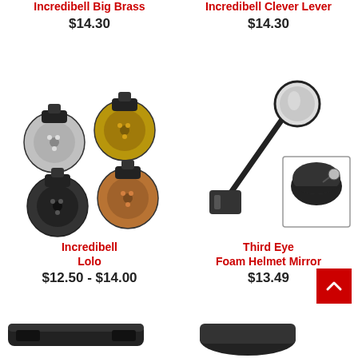Incredibell Big Brass
$14.30
Incredibell Clever Lever
$14.30
[Figure (photo): Four Incredibell Lolo bicycle bells in different metal finishes (silver, brass, black, copper) with black mounting clamps]
[Figure (photo): Third Eye Foam Helmet Mirror - an adjustable arm mirror that mounts to a bicycle helmet, with inset image showing it attached to a helmet]
Incredibell Lolo
$12.50 - $14.00
Third Eye Foam Helmet Mirror
$13.49
[Figure (photo): Partial image of a bicycle accessory at the bottom left]
[Figure (photo): Partial image of a bicycle accessory at the bottom right]